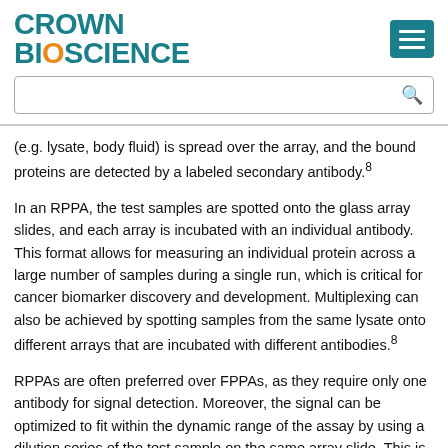Crown Bioscience
(e.g. lysate, body fluid) is spread over the array, and the bound proteins are detected by a labeled secondary antibody.⁸
In an RPPA, the test samples are spotted onto the glass array slides, and each array is incubated with an individual antibody. This format allows for measuring an individual protein across a large number of samples during a single run, which is critical for cancer biomarker discovery and development. Multiplexing can also be achieved by spotting samples from the same lysate onto different arrays that are incubated with different antibodies.⁸
RPPAs are often preferred over FPPAs, as they require only one antibody for signal detection. Moreover, the signal can be optimized to fit within the dynamic range of the assay by using a dilution series of the test sample on the same array slide. This is an important consideration because antibody affinity is